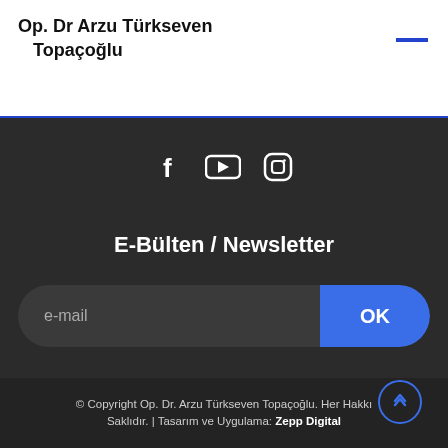Op. Dr Arzu Türkseven Topaçoğlu
[Figure (other): Social media icons: Facebook, YouTube, Instagram]
E-Bülten / Newsletter
e-mail
OK
© Copyright Op. Dr. Arzu Türkseven Topaçoğlu. Her Hakkı Saklıdır. | Tasarım ve Uygulama: Zepp Digital